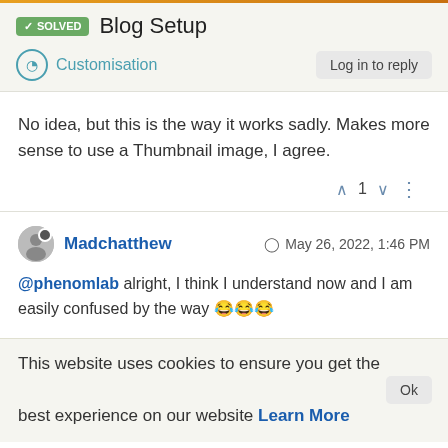✓ SOLVED  Blog Setup
Customisation
No idea, but this is the way it works sadly. Makes more sense to use a Thumbnail image, I agree.
^ 1 v ⋮
Madchatthew   🕐 May 26, 2022, 1:46 PM
@phenomlab alright, I think I understand now and I am easily confused by the way 😂😂😂
This website uses cookies to ensure you get the best experience on our website Learn More